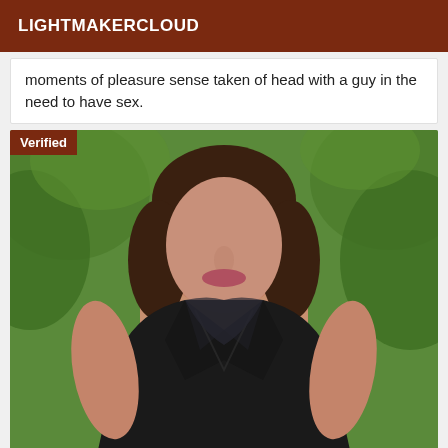LIGHTMAKERCLOUD
moments of pleasure sense taken of head with a guy in the need to have sex.
[Figure (photo): A person wearing a black sleeveless top standing outdoors with green foliage in the background. A 'Verified' badge appears in the top-left corner of the photo.]